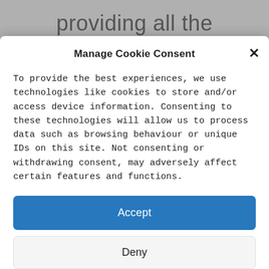providing all the
Manage Cookie Consent
To provide the best experiences, we use technologies like cookies to store and/or access device information. Consenting to these technologies will allow us to process data such as browsing behaviour or unique IDs on this site. Not consenting or withdrawing consent, may adversely affect certain features and functions.
Accept
Deny
View preferences
Cookie Policy   Privacy Policy